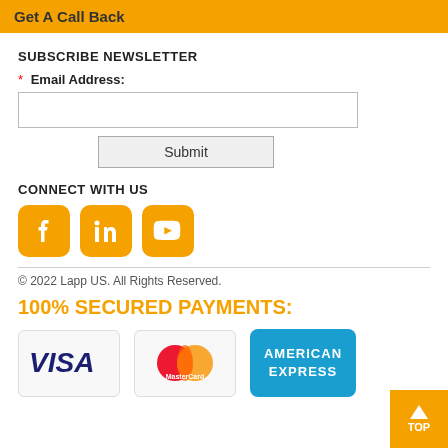Get A Call Back
SUBSCRIBE NEWSLETTER
* Email Address:
Submit
CONNECT WITH US
[Figure (illustration): Social media icons: Facebook, LinkedIn, YouTube — orange rounded square buttons with white icons]
© 2022 Lapp US. All Rights Reserved.
100% SECURED PAYMENTS:
[Figure (illustration): Payment method logos: VISA, MasterCard, American Express]